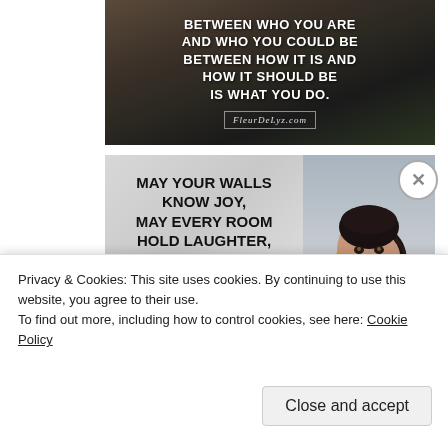[Figure (photo): Motivational quote image with dark background: 'BETWEEN WHO YOU ARE AND WHO YOU COULD BE BETWEEN HOW IT IS AND HOW IT SHOULD BE IS WHAT YOU DO.' with FleurDeLyz.com logo]
[Figure (photo): Inspirational quote image with woman model wearing white outfit with black star embellishments: 'MAY YOUR WALLS KNOW JOY, MAY EVERY ROOM HOLD LAUGHTER, AND EVERY WINDOW OPEN TO GREAT POSSIBILITY.' with FleurDeLyz.com logo box]
Privacy & Cookies: This site uses cookies. By continuing to use this website, you agree to their use.
To find out more, including how to control cookies, see here: Cookie Policy
Close and accept